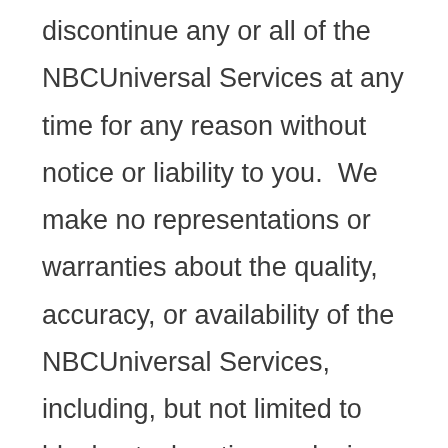discontinue any or all of the NBCUniversal Services at any time for any reason without notice or liability to you.  We make no representations or warranties about the quality, accuracy, or availability of the NBCUniversal Services, including, but not limited to blackouts, location or device-based limitations or